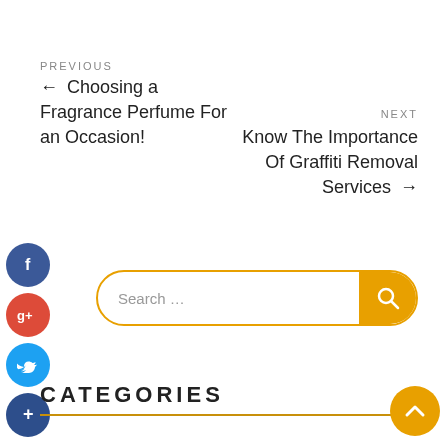PREVIOUS
← Choosing a Fragrance Perfume For an Occasion!
NEXT
Know The Importance Of Graffiti Removal Services →
[Figure (infographic): Social media icons: Facebook (dark blue circle with f), Google+ (red circle with g+), Twitter (light blue circle with bird), and a dark blue circle with + sign]
Search …
CATEGORIES